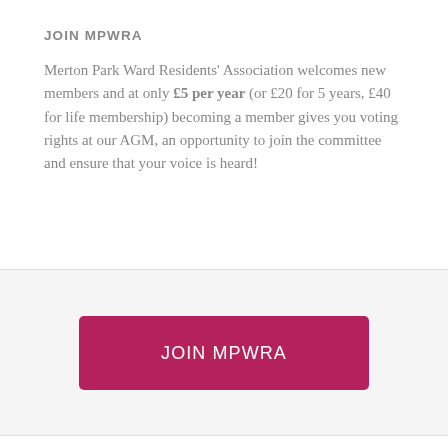JOIN MPWRA
Merton Park Ward Residents' Association welcomes new members and at only £5 per year (or £20 for 5 years, £40 for life membership) becoming a member gives you voting rights at our AGM, an opportunity to join the committee and ensure that your voice is heard!
[Figure (other): A crimson/dark pink button with white text reading 'JOIN MPWRA']
EXPLORE THE ARCHIVE
Select Month